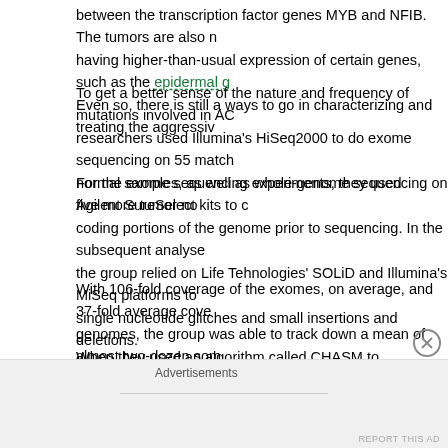between the transcription factor genes MYB and NFIB. The tumors are also noted for having higher-than-usual expression of certain genes, such as the epidermal g... Even so, there is still a ways to go in characterizing and treating the aggressive...
To get a better sense of the nature and frequency of mutations involved in AC... researchers used Illumina's HiSeq2000 to do exome sequencing on 55 match... normal samples, as well as whole-genome sequencing on five more tumor-no...
For the exome sequencing experiments, they used Agilent SureSelect kits to capture coding portions of the genome prior to sequencing. In the subsequent analyses, the group relied on Life Tehnologies' SOLiD and Illumina's MiSeq platforms to ... single nucleotide glitches and small insertions and deletions.
With 106-fold coverage of the exomes, on average, and 37-fold average cove... genomes, the group was able to track down a mean of almost two-dozen som... alterations per tumor.
When they used an algorithm called CHASM to distinguish between driver and... mutations in a set of 710 validated non-synonymous mutations, the researche... representation of apparent driver mutations affecting genes known for process... chromatin regulation and DNA damage response to signaling and metaboli...
Advertisements